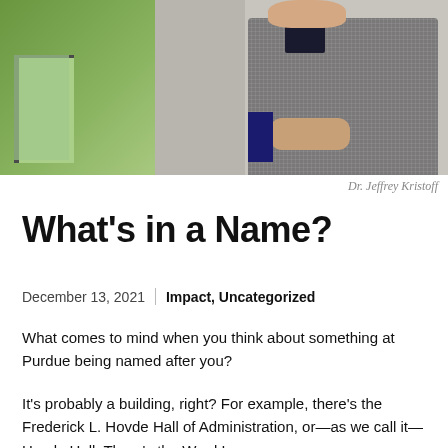[Figure (photo): Photograph of Dr. Jeffrey Kristoff standing against a concrete wall, wearing a plaid blazer, hands clasped]
Dr. Jeffrey Kristoff
What's in a Name?
December 13, 2021 | Impact, Uncategorized
What comes to mind when you think about something at Purdue being named after you?
It's probably a building, right? For example, there's the Frederick L. Hovde Hall of Administration, or—as we call it—Hovde Hall. There's the Ward L.